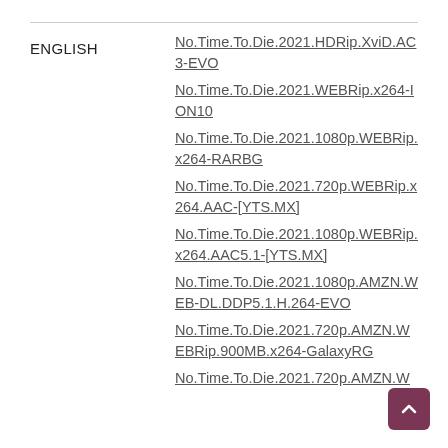ENGLISH
No.Time.To.Die.2021.HDRip.XviD.AC3-EVO
No.Time.To.Die.2021.WEBRip.x264-ION10
No.Time.To.Die.2021.1080p.WEBRip.x264-RARBG
No.Time.To.Die.2021.720p.WEBRip.x264.AAC-[YTS.MX]
No.Time.To.Die.2021.1080p.WEBRip.x264.AAC5.1-[YTS.MX]
No.Time.To.Die.2021.1080p.AMZN.WEB-DL.DDP5.1.H.264-EVO
No.Time.To.Die.2021.720p.AMZN.WEBRip.900MB.x264-GalaxyRG
No.Time.To.Die.2021.720p.AMZN.W...